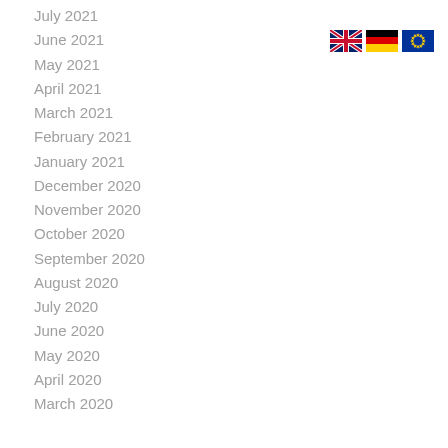July 2021
June 2021
May 2021
April 2021
March 2021
February 2021
January 2021
December 2020
November 2020
October 2020
September 2020
August 2020
July 2020
June 2020
May 2020
April 2020
March 2020
[Figure (illustration): Three national flags: UK (Union Jack), Germany (black-red-gold), and European Union (blue with yellow stars)]